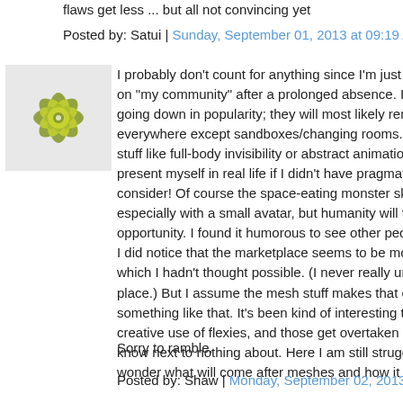flaws get less ... but all not convincing yet
Posted by: Satui | Sunday, September 01, 2013 at 09:19 AM
[Figure (illustration): Green/yellow floral snowflake avatar icon]
I probably don't count for anything since I'm just returning to on "my community" after a prolonged absence. I'm surprised going down in popularity; they will most likely remain my seco everywhere except sandboxes/changing rooms. (My first cho stuff like full-body invisibility or abstract animations. Yay social present myself in real life if I didn't have pragmatism, social n consider! Of course the space-eating monster skirts never m especially with a small avatar, but humanity will take anything opportunity. I found it humorous to see other people drown I did notice that the marketplace seems to be more full of rev which I hadn't thought possible. (I never really understood th place.) But I assume the mesh stuff makes that easier to build something like that. It's been kind of interesting to watch nor creative use of flexies, and those get overtaken by sculpties, know next to nothing about. Here I am still struggling to use t wonder what will come after meshes and how it will affect th
Sorry to ramble.
Posted by: Shaw | Monday, September 02, 2013 at 12:30 AM